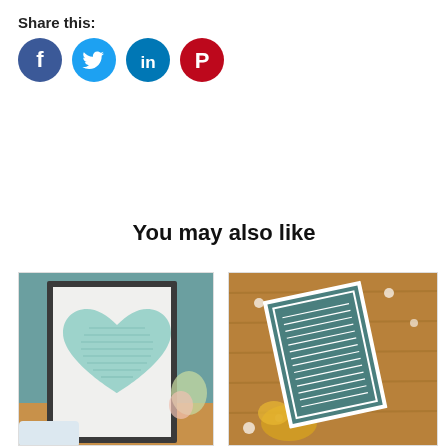Share this:
[Figure (infographic): Four social media share buttons: Facebook (blue), Twitter (blue), LinkedIn (blue), Pinterest (red)]
You may also like
[Figure (photo): A framed heart-shaped text print in mint/teal on white background, held on a wooden surface with a plant in background]
[Figure (photo): A teal/grey bordered text print lying on a wooden table with flowers and confetti around it]